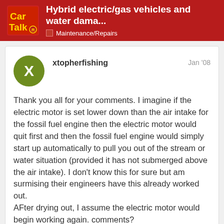Hybrid electric/gas vehicles and water dama... | Maintenance/Repairs
xtopherfishing    Jan '08
Thank you all for your comments. I imagine if the electric motor is set lower down than the air intake for the fossil fuel engine then the electric motor would quit first and then the fossil fuel engine would simply start up automatically to pull you out of the stream or water situation (provided it has not submerged above the air intake). I don't know this for sure but am surmising their engineers have this already worked out. AFter drying out, I assume the electric motor would begin working again. comments?